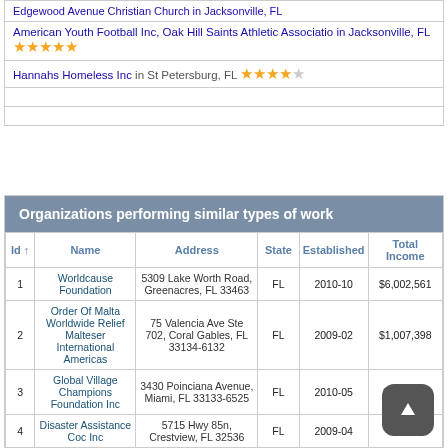| Edgewood Avenue Christian Church in Jacksonville, FL |
| American Youth Football Inc, Oak Hill Saints Athletic Associatio in Jacksonville, FL ★★★★★ |
| Hannahs Homeless Inc in St Petersburg, FL ★★★★☆ |
Organizations performing similar types of work
| Id ↑ | Name | Address | State | Established | Total Income |
| --- | --- | --- | --- | --- | --- |
| 1 | Worldcause Foundation | 5309 Lake Worth Road, Greenacres, FL 33463 | FL | 2010-10 | $6,002,561 |
| 2 | Order Of Malta Worldwide Relief Malteser International Americas | 75 Valencia Ave Ste 702, Coral Gables, FL 33134-6132 | FL | 2009-02 | $1,007,398 |
| 3 | Global Village Champions Foundation Inc | 3430 Poinciana Avenue, Miami, FL 33133-6525 | FL | 2010-05 | $836,981 |
| 4 | Disaster Assistance Coc Inc | 5715 Hwy 85n, Crestview, FL 32536 | FL | 2009-04 | $??? |
| 5 |  | PO BOX 140537 |  |  |  |